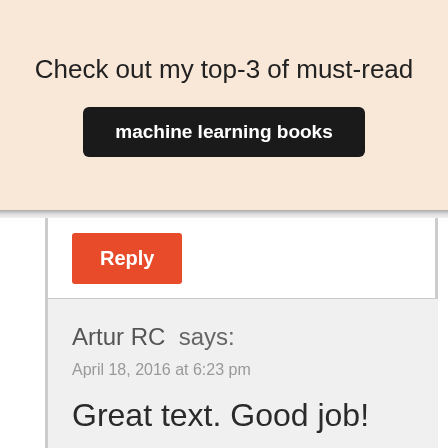Check out my top-3 of must-read
machine learning books
[Figure (screenshot): Red Reply button]
Artur RC  says:
April 18, 2016 at 6:23 pm
Great text. Good job!